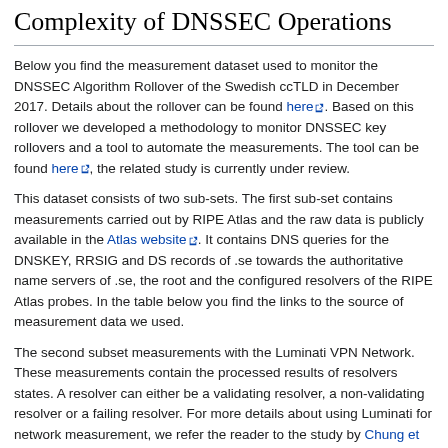Complexity of DNSSEC Operations
Below you find the measurement dataset used to monitor the DNSSEC Algorithm Rollover of the Swedish ccTLD in December 2017. Details about the rollover can be found here. Based on this rollover we developed a methodology to monitor DNSSEC key rollovers and a tool to automate the measurements. The tool can be found here, the related study is currently under review.
This dataset consists of two sub-sets. The first sub-set contains measurements carried out by RIPE Atlas and the raw data is publicly available in the Atlas website. It contains DNS queries for the DNSKEY, RRSIG and DS records of .se towards the authoritative name servers of .se, the root and the configured resolvers of the RIPE Atlas probes. In the table below you find the links to the source of measurement data we used.
The second subset measurements with the Luminati VPN Network. These measurements contain the processed results of resolvers states. A resolver can either be a validating resolver, a non-validating resolver or a failing resolver. For more details about using Luminati for network measurement, we refer the reader to the study by Chung et al..
RIPE Atlas Dataset
| Monitoring Goal | Record | Target |
| --- | --- | --- |